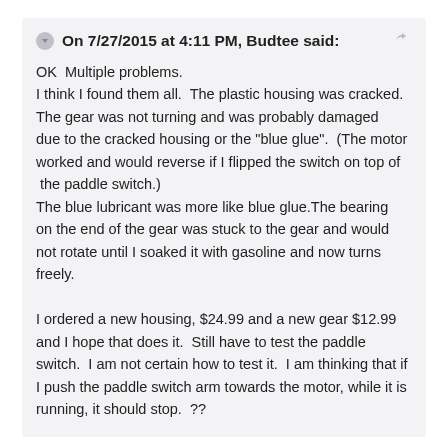On 7/27/2015 at 4:11 PM, Budtee said:
OK  Multiple problems.
I think I found them all.  The plastic housing was cracked.  The gear was not turning and was probably damaged  due to the cracked housing or the "blue glue".  (The motor worked and would reverse if I flipped the switch on top of  the paddle switch.)
The blue lubricant was more like blue glue.The bearing on the end of the gear was stuck to the gear and would not rotate until I soaked it with gasoline and now turns freely.

I ordered a new housing, $24.99 and a new gear $12.99 and I hope that does it.  Still have to test the paddle switch.  I am not certain how to test it.  I am thinking that if I push the paddle switch arm towards the motor, while it is running, it should stop.  ??
One switch of this assembly makes a fairly noticeable click when flipped, this should at least make a snap.